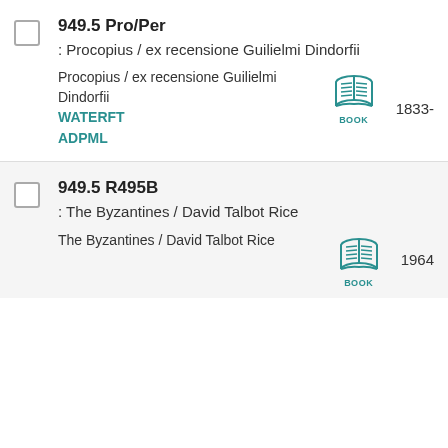949.5 Pro/Per : Procopius / ex recensione Guilielmi Dindorfii — Procopius / ex recensione Guilielmi Dindorfii — BOOK — WATERFT — ADPML — 1833-
949.5 R495B : The Byzantines / David Talbot Rice — The Byzantines / David Talbot Rice — BOOK — 1964